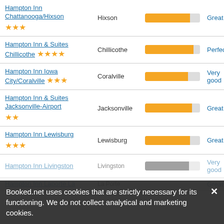Hampton Inn Chattanooga/Hixson ★★★ | Hixson | Great
Hampton Inn & Suites Chillicothe ★★★★ | Chillicothe | Perfect
Hampton Inn Iowa City/Coralville ★★★ | Coralville | Very good
Hampton Inn & Suites Jacksonville-Airport ★★ | Jacksonville | Great
Hampton Inn Lewisburg ★★★ | Lewisburg | Great
Hampton Inn Livingston | Livingston | Very good
Hampton Inn Laporte La | La Porte | Great
Booked.net uses cookies that are strictly necessary for its functioning. We do not collect analytical and marketing cookies.